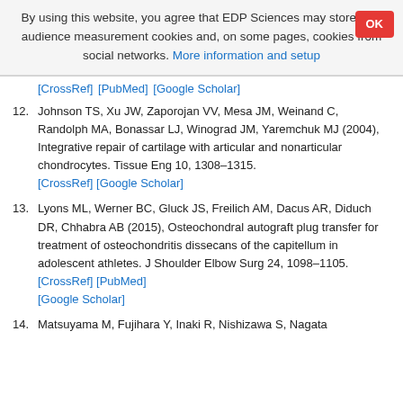By using this website, you agree that EDP Sciences may store web audience measurement cookies and, on some pages, cookies from social networks. More information and setup
[CrossRef] [PubMed] [Google Scholar]
12. Johnson TS, Xu JW, Zaporojan VV, Mesa JM, Weinand C, Randolph MA, Bonassar LJ, Winograd JM, Yaremchuk MJ (2004), Integrative repair of cartilage with articular and nonarticular chondrocytes. Tissue Eng 10, 1308–1315. [CrossRef] [Google Scholar]
13. Lyons ML, Werner BC, Gluck JS, Freilich AM, Dacus AR, Diduch DR, Chhabra AB (2015), Osteochondral autograft plug transfer for treatment of osteochondritis dissecans of the capitellum in adolescent athletes. J Shoulder Elbow Surg 24, 1098–1105. [CrossRef] [PubMed] [Google Scholar]
14. Matsuyama M, Fujihara Y, Inaki R, Nishizawa S, Nagata